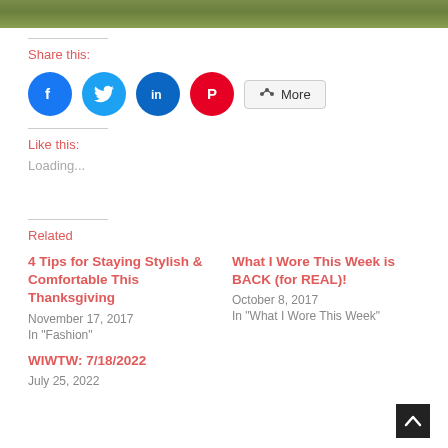[Figure (photo): Partial image at top of page, appears to be outdoor/nature scene]
Share this:
[Figure (infographic): Social share buttons: Facebook (blue circle), Twitter (light blue circle), LinkedIn (dark blue circle), Pinterest (red circle), and More button]
Like this:
Loading...
Related
4 Tips for Staying Stylish & Comfortable This Thanksgiving
November 17, 2017
In "Fashion"
What I Wore This Week is BACK (for REAL)!
October 8, 2017
In "What I Wore This Week"
WIWTW: 7/18/2022
July 25, 2022
In "What I Wore This Week"